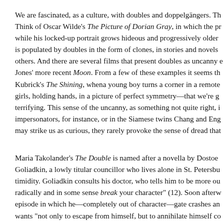We are fascinated, as a culture, with doubles and doppelgängers. Th Think of Oscar Wilde's The Picture of Dorian Gray, in which the pr while his locked-up portrait grows hideous and progressively older is populated by doubles in the form of clones, in stories and novels others. And there are several films that present doubles as uncanny e Jones' more recent Moon. From a few of these examples it seems th Kubrick's The Shining, whena young boy turns a corner in a remote girls, holding hands, in a picture of perfect symmetry—that we're g terrifying. This sense of the uncanny, as something not quite right, i impersonators, for instance, or in the Siamese twins Chang and Eng may strike us as curious, they rarely provoke the sense of dread that
Maria Takolander's The Double is named after a novella by Dostoe Goliadkin, a lowly titular councillor who lives alone in St. Petersbu timidity. Goliadkin consults his doctor, who tells him to be more ou radically and in some sense break your character" (12). Soon afterw episode in which he—completely out of character—gate crashes an wants "not only to escape from himself, but to annihilate himself co bold, cruel, and cunning Mr. Goliadkin—who comes into being and of a dreamy uncertainty about what is actually happening at any tim the ball" (34)), and implausible events that nevertheless feel inevita